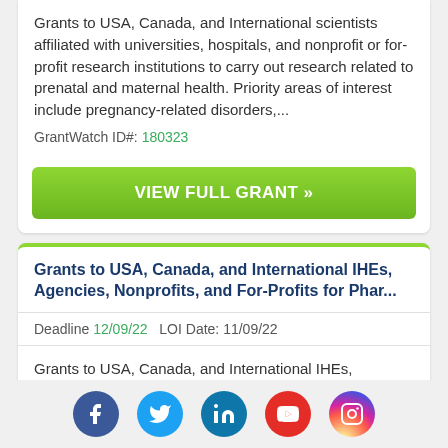Grants to USA, Canada, and International scientists affiliated with universities, hospitals, and nonprofit or for-profit research institutions to carry out research related to prenatal and maternal health. Priority areas of interest include pregnancy-related disorders,...
GrantWatch ID#: 180323
VIEW FULL GRANT »
Grants to USA, Canada, and International IHEs, Agencies, Nonprofits, and For-Profits for Phar...
Deadline 12/09/22   LOI Date: 11/09/22
Grants to USA, Canada, and International IHEs, agencies, nonprofits, and for-profits for research projects relating to the use of pharmaceuticals in children and pregnant women. Applicants are advised that required registrations
[Figure (infographic): Social media icons row: Facebook (blue circle), Twitter (light blue circle), LinkedIn (teal circle), YouTube (red circle), Instagram (gradient purple-pink circle)]